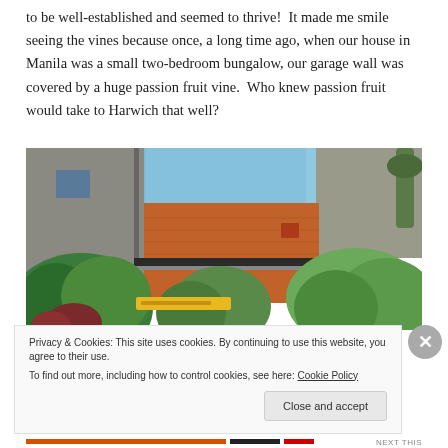to be well-established and seemed to thrive!  It made me smile seeing the vines because once, a long time ago, when our house in Manila was a small two-bedroom bungalow, our garage wall was covered by a huge passion fruit vine.  Who knew passion fruit would take to Harwich that well?
[Figure (photo): Outdoor urban courtyard scene showing brick buildings, lush green trees and shrubs, a blue sky, and a small yellow sign visible at the bottom center of the image.]
Privacy & Cookies: This site uses cookies. By continuing to use this website, you agree to their use.
To find out more, including how to control cookies, see here: Cookie Policy